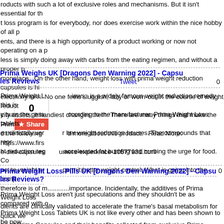roducts with such a lot of exclusive roles and mechanisms. But it isn't essential for th t loss program is for everybody, nor does exercise work within the nice hobby of all p ents, and there is a high opportunity of a product working or now not operating on a p less is simply doing away with carbs from the eating regimen, and without a proper p monplace. On the other hand, weight loss with prima weight reduction capsules is hi electricity loss. No one feels sluggish, lazy or worn-out in the course of weight reduct city assets; it handiest changes them. There are many things that make the Prima we d the following and more about this product. Read More: https://www.firs e-diet-capsules umers-experience-10577931.html
Prima Weight Loss Pills UK [Dragons Den Warning 2022] - Capsules Reviews
Tweet
0
[Figure (other): Social share widget with count box showing 0 and red Share button]
Prima Weight Loss reviews: is a widely famous weight reduction remedy this is y burn the grea ccording to the manufacturer, Prima Weight Loss tablets es clinically ver r her weight reduction houses. The compounds that repr ht reduction reg accelerated fat burning and curbing the urge for food. Co acute weight pr permit better weight control. What is going into the comp therefore is of maximum importance. Incidentally, the additives of Prima Weight Loss dients are clinically validated to accelerate the frame's basal metabolism for quick we od of Prima Capsules and their benefits collected from exclusive Prima Weight Loss cial Website https://www.firstpost.com/health/prima-weight-loss-pills-reviews-uk-ie-di 1.html
Prima Weight Loss Pills UK [Dragons Den Warning 2022] - Capsules Reviews?
0
Prima Weight Loss aren't just speculations and they shouldn't be as compared with o Prima Weight Loss Tablets UK is not like every other and has been shown to be pow oroughly to deal with all your needs. In a package of Prima Weight Loss Tablets is 30 ken constantly. The lively elements within the Prima Weight Loss Tablets weight loss ested for his or her effectiveness by numerous international studies and research